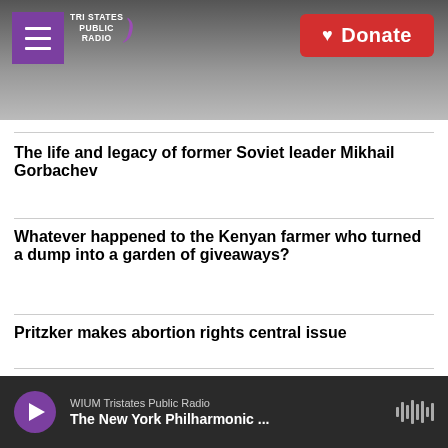[Figure (screenshot): Tri States Public Radio website header with logo, hamburger menu, and red Donate button over a gray cloudy sky background]
The life and legacy of former Soviet leader Mikhail Gorbachev
Whatever happened to the Kenyan farmer who turned a dump into a garden of giveaways?
Pritzker makes abortion rights central issue
Former Soviet leader Mikhail Gorbachev has died at 91
WIUM Tristates Public Radio — The New York Philharmonic ...